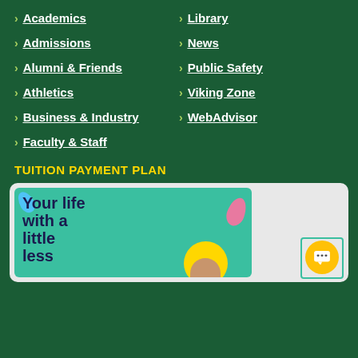> Academics
> Library
> Admissions
> News
> Alumni & Friends
> Public Safety
> Athletics
> Viking Zone
> Business & Industry
> WebAdvisor
> Faculty & Staff
TUITION PAYMENT PLAN
[Figure (illustration): Promotional banner with teal background showing text 'Your life with a little less...' with decorative colored drops (blue and pink) and a person in a yellow circle]